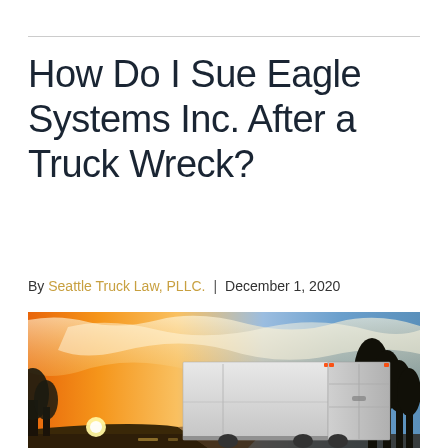How Do I Sue Eagle Systems Inc. After a Truck Wreck?
By Seattle Truck Law, PLLC. | December 1, 2020
[Figure (photo): A large white semi-truck trailer photographed from behind on a highway at sunset, with dramatic orange and gold sky, sunburst on the left, and trees silhouetted on the right.]